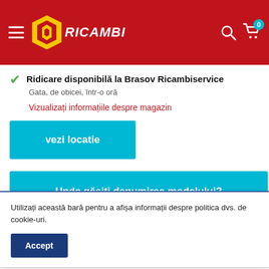[Figure (logo): Ricambi logo with yellow hexagon icon and red background header bar with hamburger menu, search icon, and cart icon with badge 0]
Ridicare disponibilă la Brasov Ricambiservice
Gata, de obicei, într-o oră
Vizualizați informațiile despre magazin
vezi locatie
Unde găsiți denumirea modelului?
Utilizați această bară pentru a afișa informații despre politica dvs. de cookie-uri.
Accept
Utilizat în NNA-TAG-TAM/utilizat în NNA-TAG-Z-TAM (2.TAM/1.9008.3)